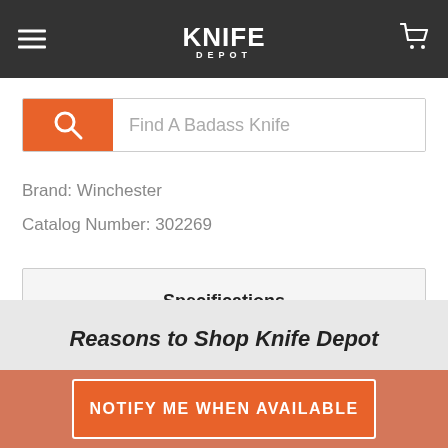Knife Depot
[Figure (screenshot): Search bar with orange search icon button and placeholder text 'Find A Badass Knife']
Brand: Winchester
Catalog Number: 302269
Specifications
Reasons to Shop Knife Depot
NOTIFY ME WHEN AVAILABLE